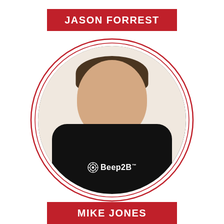JASON FORREST
[Figure (photo): Circular portrait photo of a smiling man wearing a black Beep2B branded t-shirt, surrounded by concentric red circle decorative rings]
MIKE JONES